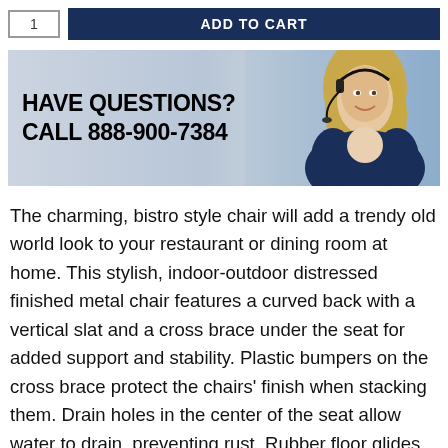[Figure (screenshot): Add to Cart button with quantity box on the left and a dark navy 'ADD TO CART' button on the right]
[Figure (photo): Promotional banner with text 'HAVE QUESTIONS? CALL 888-900-7384' on the left and a smiling woman wearing a headset on the right, with a light blue/grey gradient background]
The charming, bistro style chair will add a trendy old world look to your restaurant or dining room at home. This stylish, indoor-outdoor distressed finished metal chair features a curved back with a vertical slat and a cross brace under the seat for added support and stability. Plastic bumpers on the cross brace protect the chairs' finish when stacking them. Drain holes in the center of the seat allow water to drain, preventing rust. Rubber floor glides